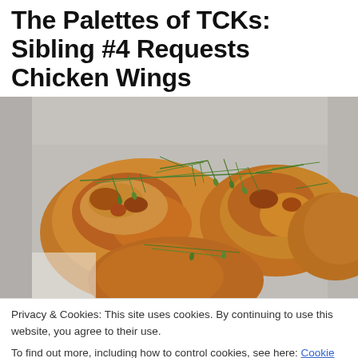The Palettes of TCKs: Sibling #4 Requests Chicken Wings
[Figure (photo): Close-up photo of golden-brown roasted chicken pieces (wings/thighs) garnished with fresh green rosemary or tarragon sprigs, in a white baking dish]
Privacy & Cookies: This site uses cookies. By continuing to use this website, you agree to their use.
To find out more, including how to control cookies, see here: Cookie Policy
Close and accept
[Figure (photo): Bottom edge of another food photo showing dark roasted chicken with herbs]